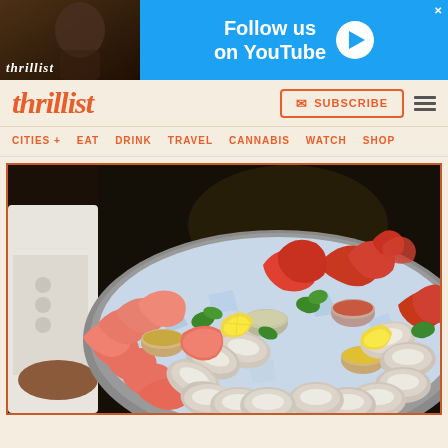[Figure (photo): Advertisement banner for Thrillist YouTube channel with 'Follow us on YouTube' text and play button on blue background]
thrillist
[Figure (photo): Subscribe button and hamburger menu icon in navigation bar]
CITIES + EAT DRINK TRAVEL CANNABIS WATCH SHOP
[Figure (photo): A chef holding a large seafood platter with shrimp, oysters, lobster claws, crab, sauces and lemon wedges on ice]